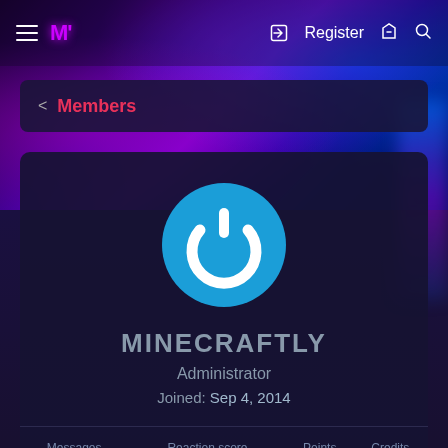M' | Register
< Members
MINECRAFTLY
Administrator
Joined: Sep 4, 2014
| Messages | Reaction score | Points | Credits |
| --- | --- | --- | --- |
|  | 0 |  |  |